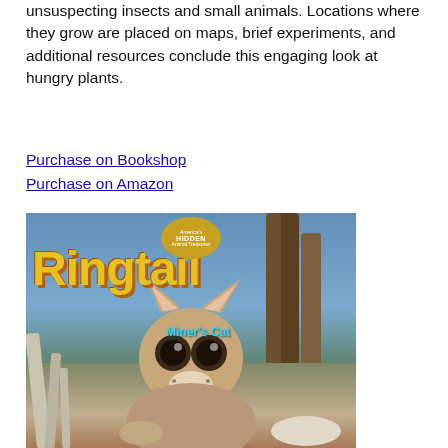unsuspecting insects and small animals. Locations where they grow are placed on maps, brief experiments, and additional resources conclude this engaging look at hungry plants.
Purchase on Bookshop
Purchase on Amazon
[Figure (photo): Book cover of 'Ringtail Miner's Cat' from the America's Hidden Animal Treasures series, showing a close-up photo of a ringtail cat (bassariscus astutus) on a tree branch against a blue-green background, with large yellow stylized title text 'Ringtail' and subtitle 'Miner's Cat' in teal.]